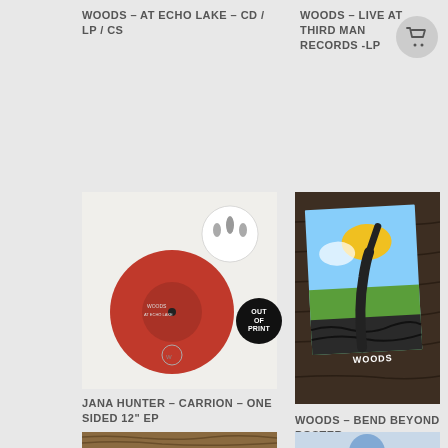WOODS – AT ECHO LAKE – CD / LP / CS
WOODS – LIVE AT THIRD MAN RECORDS -LP
[Figure (photo): White vinyl record sleeve with red label disc and band logo, with OUT OF PRINT badge]
JANA HUNTER – CARRION – ONE SIDED 12" EP
[Figure (photo): Woods - Bend Beyond poster lying on wooden table, colorful painted artwork showing a hand/creature emerging with yellow shape against sky]
WOODS – BEND BEYOND POSTER
[Figure (photo): Partial bottom left product image on wooden surface]
[Figure (photo): Partial bottom right product image]